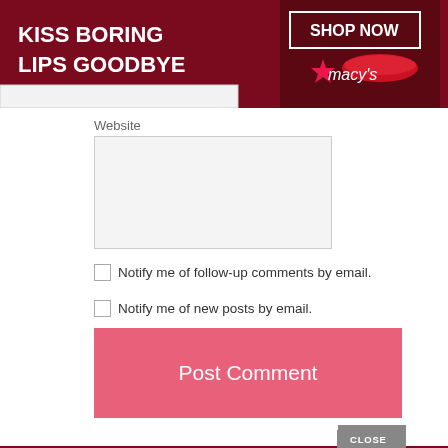[Figure (screenshot): Macy's advertisement banner: dark red/maroon background with woman's face and red lips. Text: 'KISS BORING LIPS GOODBYE' on left, 'SHOP NOW' button with star and 'macy's' logo on right.]
Website
[Figure (screenshot): Website form input text area (empty, light gray background)]
Notify me of follow-up comments by email.
Notify me of new posts by email.
Post Comment
[Figure (screenshot): Bottom Macy's advertisement banner with CLOSE button: 'KISS BORING LIPS GOODBYE' and 'SHOP NOW ★ macy's'. Twitter bird icon on far right.]